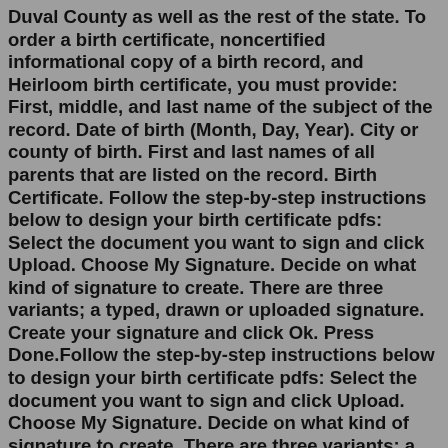Duval County as well as the rest of the state. To order a birth certificate, noncertified informational copy of a birth record, and Heirloom birth certificate, you must provide: First, middle, and last name of the subject of the record. Date of birth (Month, Day, Year). City or county of birth. First and last names of all parents that are listed on the record. Birth Certificate. Follow the step-by-step instructions below to design your birth certificate pdfs: Select the document you want to sign and click Upload. Choose My Signature. Decide on what kind of signature to create. There are three variants; a typed, drawn or uploaded signature. Create your signature and click Ok. Press Done.Follow the step-by-step instructions below to design your birth certificate pdfs: Select the document you want to sign and click Upload. Choose My Signature. Decide on what kind of signature to create. There are three variants; a typed, drawn or uploaded signature. Create your signature and click Ok. Press Done. Get a Copy of Your Birth Certificate As a US citizen, your birth certificate a do...